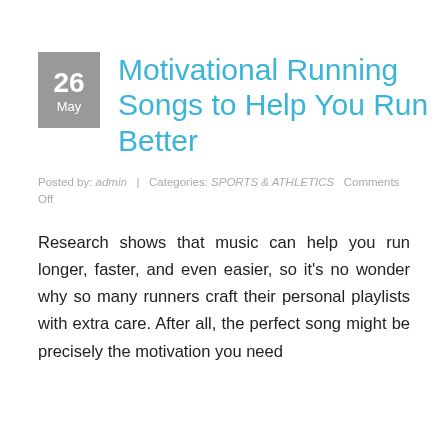Motivational Running Songs to Help You Run Better
Posted by: admin  |  Categories: SPORTS & ATHLETICS  Comments Off
Research shows that music can help you run longer, faster, and even easier, so it's no wonder why so many runners craft their personal playlists with extra care. After all, the perfect song might be precisely the motivation you need